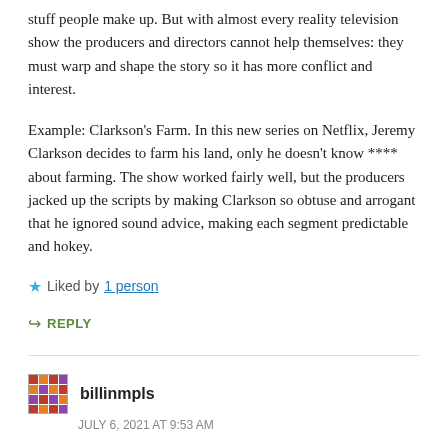stuff people make up. But with almost every reality television show the producers and directors cannot help themselves: they must warp and shape the story so it has more conflict and interest.
Example: Clarkson's Farm. In this new series on Netflix, Jeremy Clarkson decides to farm his land, only he doesn't know **** about farming. The show worked fairly well, but the producers jacked up the scripts by making Clarkson so obtuse and arrogant that he ignored sound advice, making each segment predictable and hokey.
★ Liked by 1 person
↪ REPLY
billinmpls
JULY 6, 2021 AT 9:53 AM